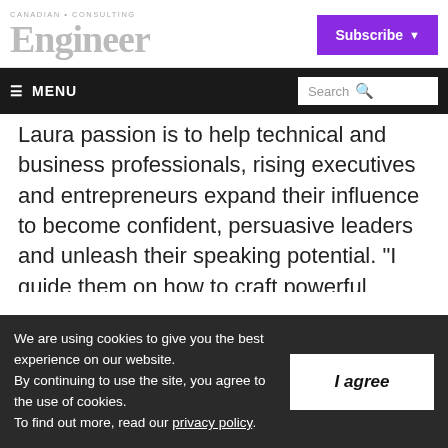CANADIAN CONSULTING Engineer
Subscribe
≡ MENU  Search
Laura passion is to help technical and business professionals, rising executives and entrepreneurs expand their influence to become confident, persuasive leaders and unleash their speaking potential. "I guide them on how to craft powerful presentations and deliver them with passion and confidence so
We are using cookies to give you the best experience on our website.
By continuing to use the site, you agree to the use of cookies.
To find out more, read our privacy policy.
I agree